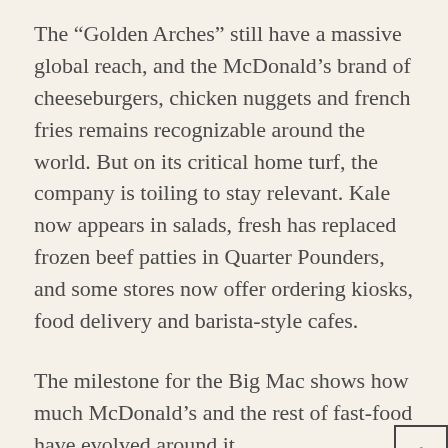The “Golden Arches” still have a massive global reach, and the McDonald’s brand of cheeseburgers, chicken nuggets and french fries remains recognizable around the world. But on its critical home turf, the company is toiling to stay relevant. Kale now appears in salads, fresh has replaced frozen beef patties in Quarter Pounders, and some stores now offer ordering kiosks, food delivery and barista-style cafes.
The milestone for the Big Mac shows how much McDonald’s and the rest of fast-food have evolved around it.